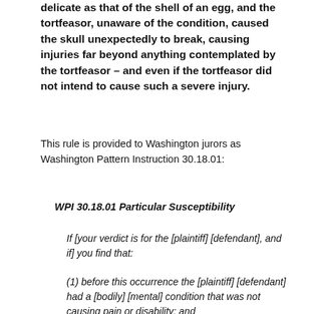delicate as that of the shell of an egg, and the tortfeasor, unaware of the condition, caused the skull unexpectedly to break, causing injuries far beyond anything contemplated by the tortfeasor – and even if the tortfeasor did not intend to cause such a severe injury.
This rule is provided to Washington jurors as Washington Pattern Instruction 30.18.01:
WPI 30.18.01 Particular Susceptibility
If [your verdict is for the [plaintiff] [defendant], and if] you find that:
(1) before this occurrence the [plaintiff] [defendant] had a [bodily] [mental] condition that was not causing pain or disability; and